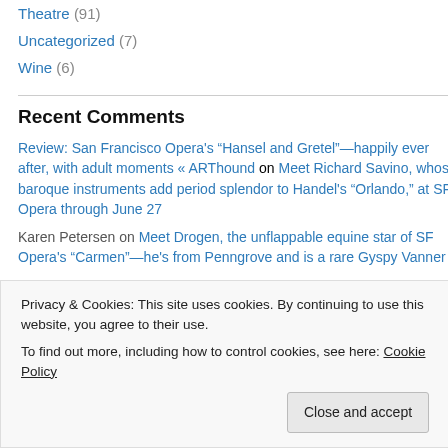Theatre (91)
Uncategorized (7)
Wine (6)
Recent Comments
Review: San Francisco Opera’s “Hansel and Gretel”—happily ever after, with adult moments « ARThound on Meet Richard Savino, whose baroque instruments add period splendor to Handel’s “Orlando,” at SF Opera through June 27
Karen Petersen on Meet Drogen, the unflappable equine star of SF Opera’s “Carmen”—he’s from Penngrove and is a rare Gyspy Vanner
Privacy & Cookies: This site uses cookies. By continuing to use this website, you agree to their use.
To find out more, including how to control cookies, see here: Cookie Policy